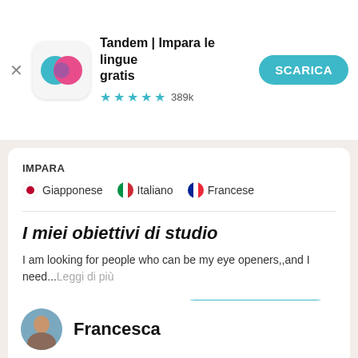[Figure (logo): Tandem app icon with teal and pink overlapping speech bubble circles]
Tandem | Impara le lingue gratis
★★★★½ 389k
SCARICA
IMPARA
• Giapponese  🇮🇹 Italiano  🇫🇷 Francese
I miei obiettivi di studio
I am looking for people who can be my eye openers,,and I need...Leggi di più
Scarica la app
Francesca